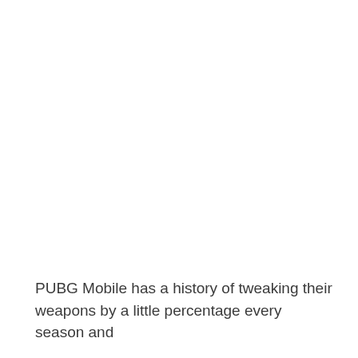PUBG Mobile has a history of tweaking their weapons by a little percentage every season and